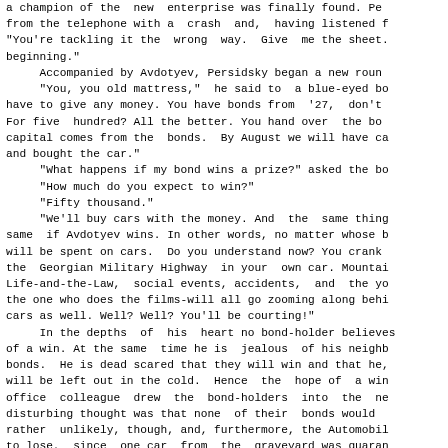a champion of the new  enterprise was finally found. Pe from the telephone with a  crash  and,  having listened  "You're tackling it the  wrong  way.  Give  me the sheet. beginning."
     Accompanied by Avdotyev, Persidsky began a new roun     "You, you old mattress,"  he said to  a blue-eyed b have to give any money. You have bonds from  '27,  don't For five  hundred? All the better. You hand over  the bo capital comes from the  bonds.  By August we will have c and bought the car."
     "What happens if my bond wins a prize?" asked the b      "How much do you expect to win?"
     "Fifty thousand."
     "We'll buy cars with the money. And  the  same thin same  if Avdotyev wins. In other words, no matter whose  will be spent on cars.  Do you understand now? You crank the  Georgian Military Highway  in your  own car. Mounta Life-and-the-Law,  social events, accidents,  and  the  the one who does the films-will all go zooming along beh cars as well. Well? Well? You'll be courting!"
     In the depths  of  his  heart no bond-holder believe of a win. At the same  time he is  jealous  of his neigh bonds.  He is dead scared that they will win and that he will be left out in the cold.  Hence  the  hope of  a wi office  colleague  drew  the  bond-holders  into  the n disturbing thought was that none  of their  bonds would  rather  unlikely, though, and, furthermore, the Automobi to lose,  since  one car  from  the  graveyard was guara earned from the bonds.
     In five minutes twenty people had been recruited. A